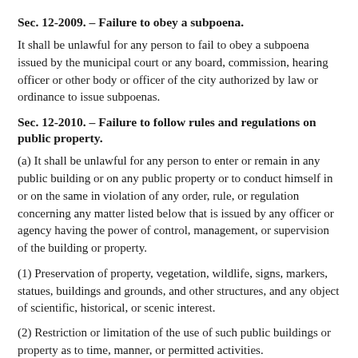Sec. 12-2009. – Failure to obey a subpoena.
It shall be unlawful for any person to fail to obey a subpoena issued by the municipal court or any board, commission, hearing officer or other body or officer of the city authorized by law or ordinance to issue subpoenas.
Sec. 12-2010. – Failure to follow rules and regulations on public property.
(a) It shall be unlawful for any person to enter or remain in any public building or on any public property or to conduct himself in or on the same in violation of any order, rule, or regulation concerning any matter listed below that is issued by any officer or agency having the power of control, management, or supervision of the building or property.
(1) Preservation of property, vegetation, wildlife, signs, markers, statues, buildings and grounds, and other structures, and any object of scientific, historical, or scenic interest.
(2) Restriction or limitation of the use of such public buildings or property as to time, manner, or permitted activities.
(3) Prohibition of activities or conduct within public buildings or on public property which may be reasonably expected to substantially interfere with the use and enjoyment of such places by others which are not otherwise covered by these sections.